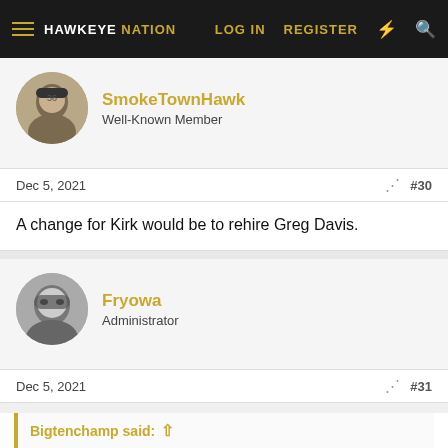HAWKEYE NATION — LOG IN  REGISTER
SmokeTownHawk
Well-Known Member
Dec 5, 2021  #30
A change for Kirk would be to rehire Greg Davis.
Fryowa
Administrator
Dec 5, 2021  #31
Bigtenchamp said:
Inc Fry to give you lessons on what being a real man is.
I can't help it if you're a snowflake